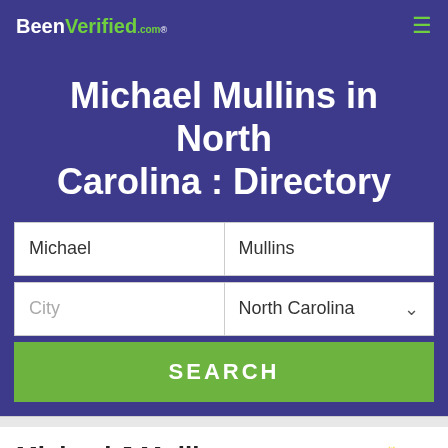BeenVerified.com
Michael Mullins in North Carolina : Directory
Michael | Mullins | City | North Carolina | SEARCH
Michael J Mullins  59